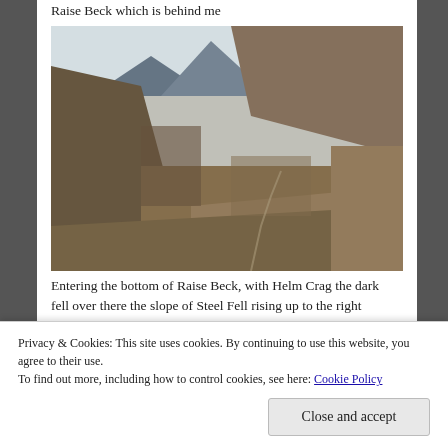Raise Beck which is behind me
[Figure (photo): Landscape photograph of a mountain valley showing Raise Beck with hills and moorland vegetation. Rocky terrain in the foreground with mountains visible in the distance under a light sky.]
Entering the bottom of Raise Beck, with Helm Crag the dark fell over there the slope of Steel Fell rising up to the right
[Figure (photo): Landscape photograph looking up a steep mountain valley with blue sky and wispy clouds above. Green hillsides rising sharply on both sides.]
Privacy & Cookies: This site uses cookies. By continuing to use this website, you agree to their use.
To find out more, including how to control cookies, see here: Cookie Policy